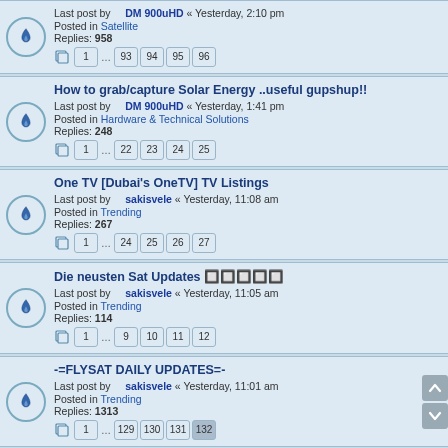Last post by DM 900uHD « Yesterday, 2:10 pm
Posted in Satellite
Replies: 958
Pages: 1 ... 93 94 95 96
How to grab/capture Solar Energy ..useful gupshup!!
Last post by DM 900uHD « Yesterday, 1:41 pm
Posted in Hardware & Technical Solutions
Replies: 248
Pages: 1 ... 22 23 24 25
One TV [Dubai's OneTV] TV Listings
Last post by sakisvele « Yesterday, 11:08 am
Posted in Trending
Replies: 267
Pages: 1 ... 24 25 26 27
Die neusten Sat Updates 🔥🔥🔥🔥🔥
Last post by sakisvele « Yesterday, 11:05 am
Posted in Trending
Replies: 114
Pages: 1 ... 9 10 11 12
-=FLYSAT DAILY UPDATES=-
Last post by sakisvele « Yesterday, 11:01 am
Posted in Trending
Replies: 1313
Pages: 1 ... 129 130 131 132
Daily Lyngsat Updates